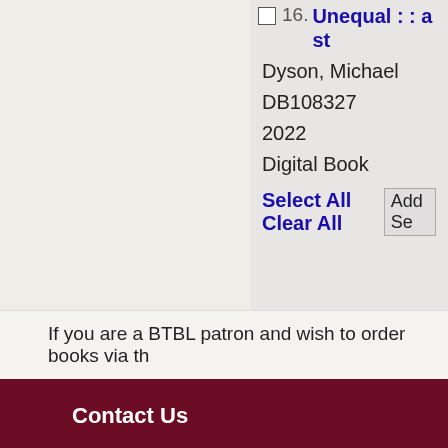Unequal : : a st... Dyson, Michael DB108327 2022 Digital Book
Select All Clear All | Add Se
If you are a BTBL patron and wish to order books via th...
Contact Us
Phone: (800)952-5666 (Toll Free in CA) or (916)654-
Hours: Monday through Friday, 9:30 AM - 4:00 PM